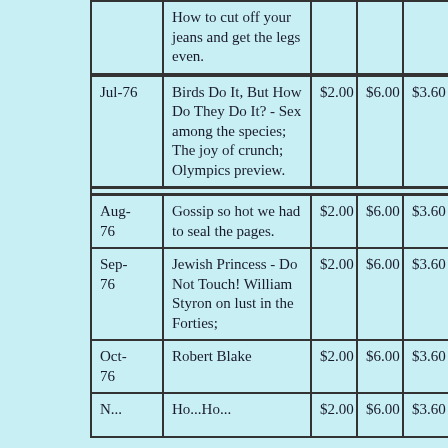| Date | Description | Price1 | Price2 | Price3 |
| --- | --- | --- | --- | --- |
|  | How to cut off your jeans and get the legs even. |  |  |  |
| Jul-76 | Birds Do It, But How Do They Do It? - Sex among the species; The joy of crunch; Olympics preview. | $2.00 | $6.00 | $3.60 |
| Aug-76 | Gossip so hot we had to seal the pages. | $2.00 | $6.00 | $3.60 |
| Sep-76 | Jewish Princess - Do Not Touch! William Styron on lust in the Forties; | $2.00 | $6.00 | $3.60 |
| Oct-76 | Robert Blake | $2.00 | $6.00 | $3.60 |
| Nov-... | Ho...Ho... | $2.00 | $6.00 | $3.60 |